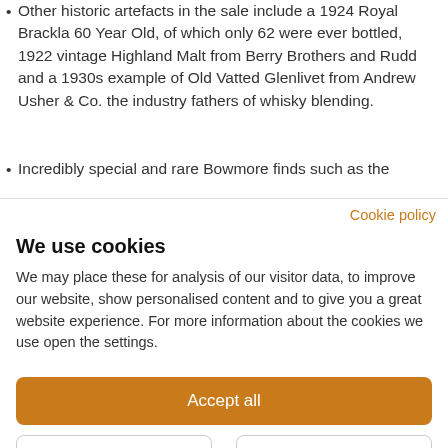Other historic artefacts in the sale include a 1924 Royal Brackla 60 Year Old, of which only 62 were ever bottled, 1922 vintage Highland Malt from Berry Brothers and Rudd and a 1930s example of Old Vatted Glenlivet from Andrew Usher & Co. the industry fathers of whisky blending.
Incredibly special and rare Bowmore finds such as the
Cookie policy
We use cookies
We may place these for analysis of our visitor data, to improve our website, show personalised content and to give you a great website experience. For more information about the cookies we use open the settings.
Accept all
Deny
No, adjust